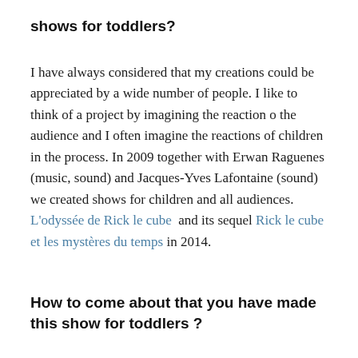shows for toddlers?
I have always considered that my creations could be appreciated by a wide number of people. I like to think of a project by imagining the reaction o the audience and I often imagine the reactions of children in the process. In 2009 together with Erwan Raguenes (music, sound) and Jacques-Yves Lafontaine (sound) we created shows for children and all audiences. L'odyssée de Rick le cube and its sequel Rick le cube et les mystères du temps in 2014.
How to come about that you have made this show for toddlers ?
The shows about the world of Rick the cube set out for children from 5 years old however for a number of years